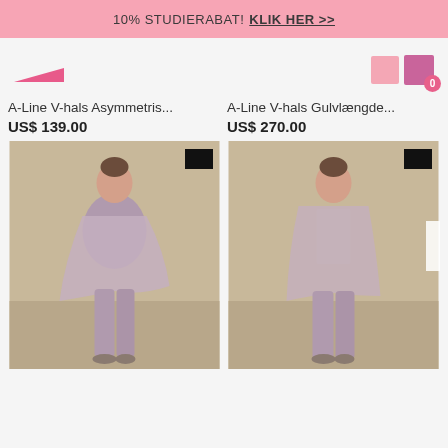10% STUDIERABAT! KLIK HER >>
[Figure (screenshot): Navigation icons: pink arrow shape left, pink square icon and purple square icon with badge showing 0 on the right]
A-Line V-hals Asymmetris...
US$ 139.00
A-Line V-hals Gulvlængde...
US$ 270.00
[Figure (photo): Woman wearing a mauve/dusty purple A-line chiffon dress with asymmetric overlay top and wide-leg pants, standing against a beige background. Black color swatch in top-right corner.]
[Figure (photo): Woman wearing a mauve/dusty purple A-line outfit with sequined top, chiffon cardigan and wide-leg pants, standing against a beige background. Black color swatch in top-right corner.]